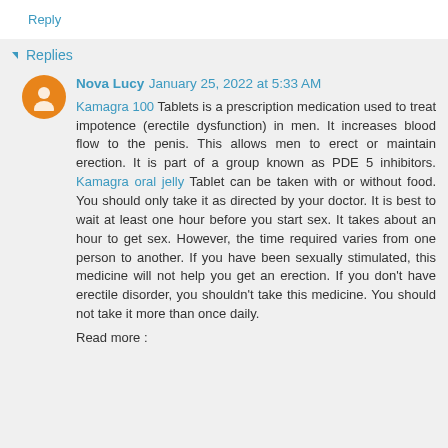Reply
▾ Replies
Nova Lucy  January 25, 2022 at 5:33 AM
Kamagra 100 Tablets is a prescription medication used to treat impotence (erectile dysfunction) in men. It increases blood flow to the penis. This allows men to erect or maintain erection. It is part of a group known as PDE 5 inhibitors. Kamagra oral jelly Tablet can be taken with or without food. You should only take it as directed by your doctor. It is best to wait at least one hour before you start sex. It takes about an hour to get sex. However, the time required varies from one person to another. If you have been sexually stimulated, this medicine will not help you get an erection. If you don't have erectile disorder, you shouldn't take this medicine. You should not take it more than once daily.
Read more :